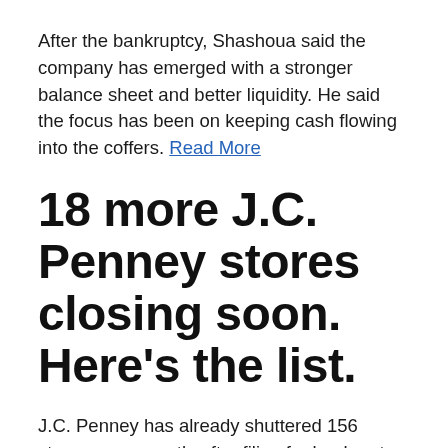After the bankruptcy, Shashoua said the company has emerged with a stronger balance sheet and better liquidity. He said the focus has been on keeping cash flowing into the coffers. Read More
18 more J.C. Penney stores closing soon. Here's the list.
J.C. Penney has already shuttered 156 stores permanently after filing for bankruptcy last year. Eighteen more will close in the next two months. Read more